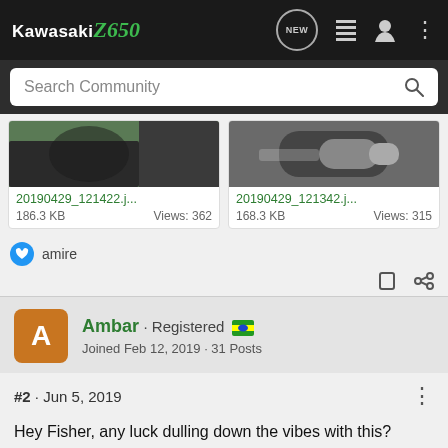Kawasaki Z650 | NEW | list | user | more
Search Community
[Figure (photo): Thumbnail image – partially visible motorcycle/mechanical part, left card, filename 20190429_121422.j...]
20190429_121422.j...  186.3 KB  Views: 362
[Figure (photo): Thumbnail image – hand holding cylindrical metal part, right card, filename 20190429_121342.j...]
20190429_121342.j...  168.3 KB  Views: 315
amire
Ambar · Registered  Joined Feb 12, 2019 · 31 Posts
#2 · Jun 5, 2019
Hey Fisher, any luck dulling down the vibes with this?